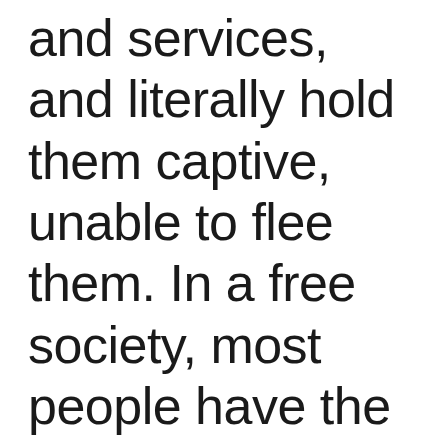and services, and literally hold them captive, unable to flee them. In a free society, most people have the ability to exit relations. Thi